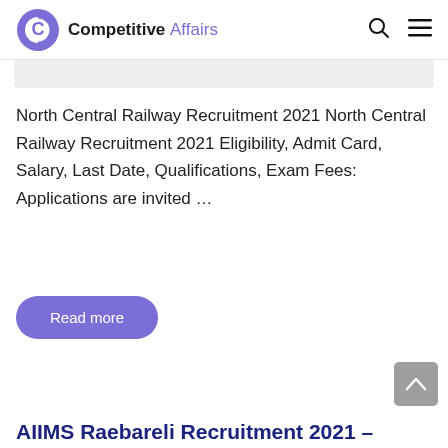Competitive Affairs
North Central Railway Recruitment 2021 North Central Railway Recruitment 2021 Eligibility, Admit Card, Salary, Last Date, Qualifications, Exam Fees: Applications are invited …
Read more
AIIMS Raebareli Recruitment 2021 –